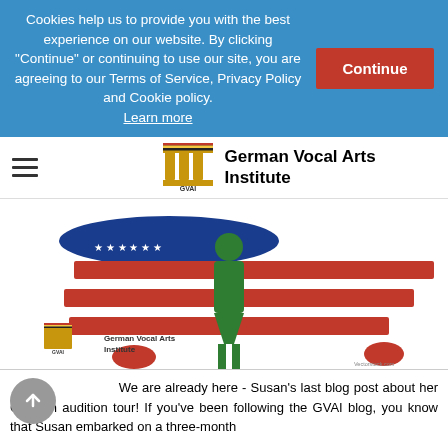Cookies help us to provide you with the best experience on our website. By clicking "Continue" or continuing to use our site, you are agreeing to our Terms of Service, Privacy Policy and Cookie policy. Learn more
Continue
[Figure (logo): German Vocal Arts Institute logo with stylized building/pillars icon and text]
[Figure (illustration): Illustration of a green female silhouette standing over a stylized US map made of American flag stripes and stars, with German Vocal Arts Institute logo overlay]
We are already here - Susan's last blog post about her German audition tour! If you've been following the GVAI blog, you know that Susan embarked on a three-month